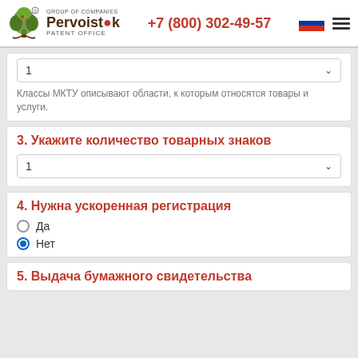GROUP OF COMPANIES Pervoistok PATENT OFFICE | +7 (800) 302-49-57
Классы МКТУ описывают области, к которым относятся товары и услуги.
3. Укажите количество товарных знаков
4. Нужна ускоренная регистрация
Да
Нет
5. Выдача бумажного свидетельства